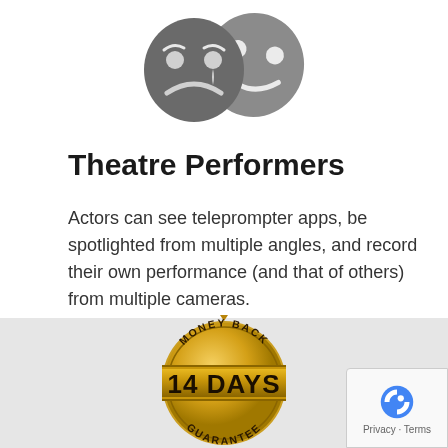[Figure (illustration): Theatre masks icon — comedy and tragedy masks in dark grey]
Theatre Performers
Actors can see teleprompter apps, be spotlighted from multiple angles, and record their own performance (and that of others) from multiple cameras.
[Figure (illustration): Gold money-back guarantee badge stamp with text '14 DAYS' in large letters, 'MONEY BACK' at top, 'GUARANTEE' at bottom]